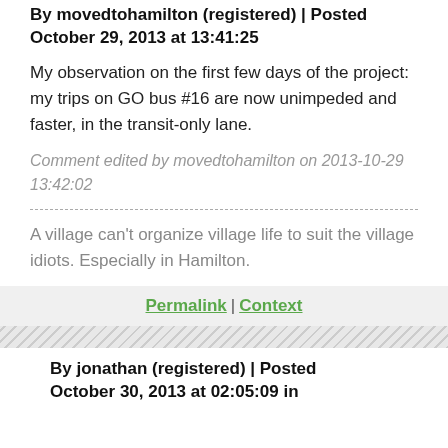By movedtohamilton (registered) | Posted October 29, 2013 at 13:41:25
My observation on the first few days of the project: my trips on GO bus #16 are now unimpeded and faster, in the transit-only lane.
Comment edited by movedtohamilton on 2013-10-29 13:42:02
A village can't organize village life to suit the village idiots. Especially in Hamilton.
Permalink | Context
By jonathan (registered) | Posted October 30, 2013 at 02:05:09 in